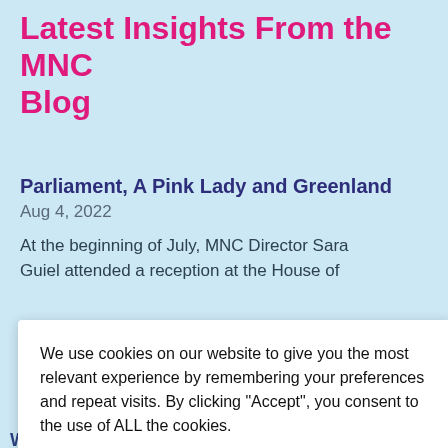Latest Insights From the MNC Blog
Parliament, A Pink Lady and Greenland
Aug 4, 2022
At the beginning of July, MNC Director Sara Guiel attended a reception at the House of
We use cookies on our website to give you the most relevant experience by remembering your preferences and repeat visits. By clicking “Accept”, you consent to the use of ALL the cookies.
Cookie settings
ACCEPT
Next Entries »
bership
We created MNC Gold as a premium